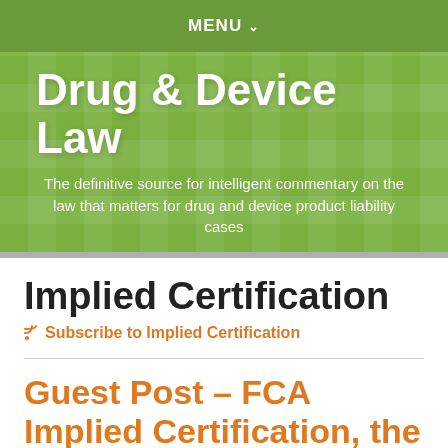MENU ▾
[Figure (illustration): Drug & Device Law blog banner with green pixelated background, large white bold title 'Drug & Device Law' and subtitle 'The definitive source for intelligent commentary on the law that matters for drug and device product liability cases']
Implied Certification
Subscribe to Implied Certification
Guest Post – FCA Implied Certification, the Slim, Early